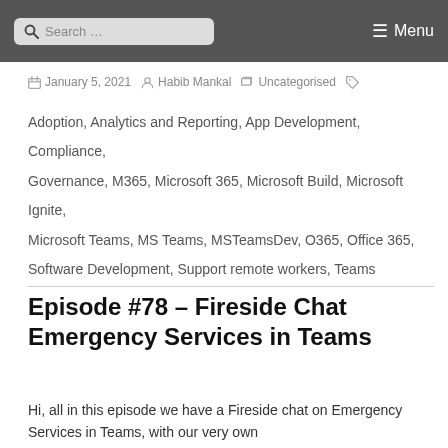Search ... Menu
January 5, 2021  Habib Mankal  Uncategorised
Adoption, Analytics and Reporting, App Development, Compliance, Governance, M365, Microsoft 365, Microsoft Build, Microsoft Ignite, Microsoft Teams, MS Teams, MSTeamsDev, O365, Office 365, Software Development, Support remote workers, Teams
Episode #78 – Fireside Chat Emergency Services in Teams
Hi, all in this episode we have a Fireside chat on Emergency Services in Teams, with our very own